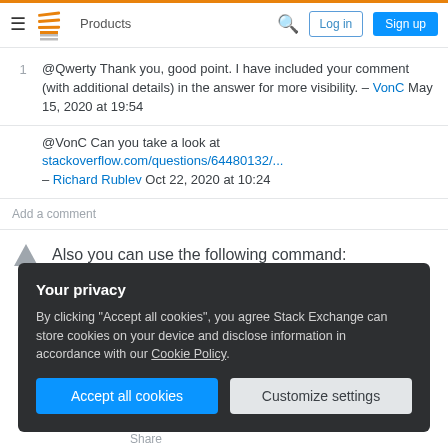Stack Overflow — Products | Log in | Sign up
1  @Qwerty Thank you, good point. I have included your comment (with additional details) in the answer for more visibility. – VonC May 15, 2020 at 19:54
@VonC Can you take a look at stackoverflow.com/questions/64480132/... – Richard Rublev Oct 22, 2020 at 10:24
Add a comment
Also you can use the following command:
Your privacy
By clicking "Accept all cookies", you agree Stack Exchange can store cookies on your device and disclose information in accordance with our Cookie Policy.
Accept all cookies | Customize settings
Share